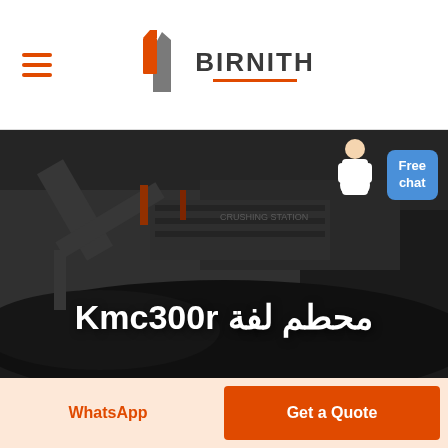[Figure (logo): BIRNITH company logo with orange and grey building icon and text BIRNITH with orange underline]
[Figure (photo): Industrial crushing/mining machine with coal or rock material in the foreground, dark moody photo with Arabic and English overlay text]
محطم لفة Kmc300r
Free chat
WhatsApp
Get a Quote